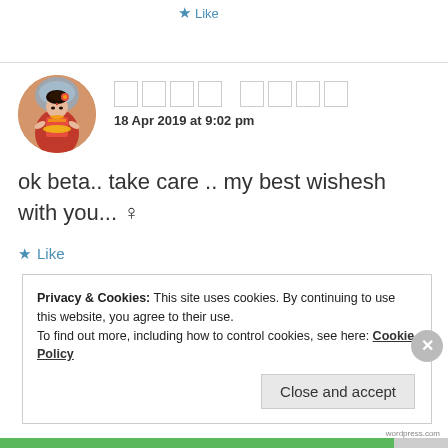Like
[Figure (photo): Circular avatar image of a woman dressed in traditional Indian attire]
□□□□ □□□□
18 Apr 2019 at 9:02 pm
ok beta.. take care .. my best wishesh with you... ♀
Like
Privacy & Cookies: This site uses cookies. By continuing to use this website, you agree to their use.
To find out more, including how to control cookies, see here: Cookie Policy
Close and accept